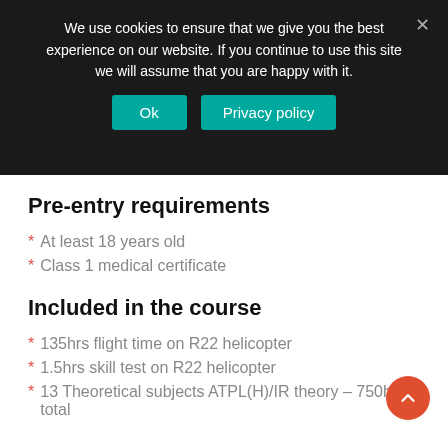We use cookies to ensure that we give you the best experience on our website. If you continue to use this site we will assume that you are happy with it.
Pre-entry requirements
* At least 18 years old
* Class 1 medical certificate
Included in the course
* 135hrs flight time on R22 helicopter
* 1.5hrs skill test on R22 helicopter
* 13 Theoretical subjects ATPL(H)/IR theory – 750hrs total